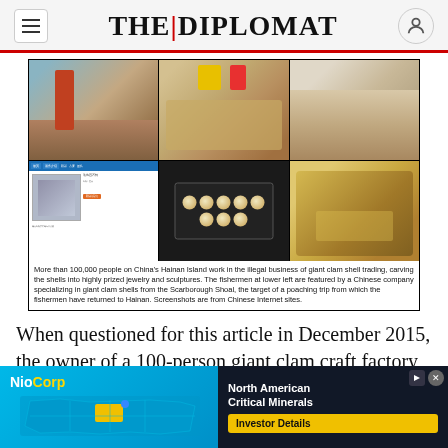THE | DIPLOMAT
[Figure (photo): Six-panel photo collage showing giant clam shells: piles of shells being unloaded, market stalls with shells, large white clam shells for sale, a Chinese website screenshot showing fishermen, a pearl/clam bead necklace on black velvet, and a carved clam shell sculpture.]
More than 100,000 people on China's Hainan Island work in the illegal business of giant clam shell trading, carving the shells into highly prized jewelry and sculptures. The fishermen at lower left are featured by a Chinese company specializing in giant clam shells from the Scarborough Shoal, the target of a poaching trip from which the fishermen have returned to Hainan. Screenshots are from Chinese Internet sites.
When questioned for this article in December 2015, the owner of a 100-person giant clam craft factory
[Figure (infographic): NioCorp advertisement banner showing a map of the United States with Nebraska highlighted in yellow, and text reading 'NioCorp North American Critical Minerals Investor Details']